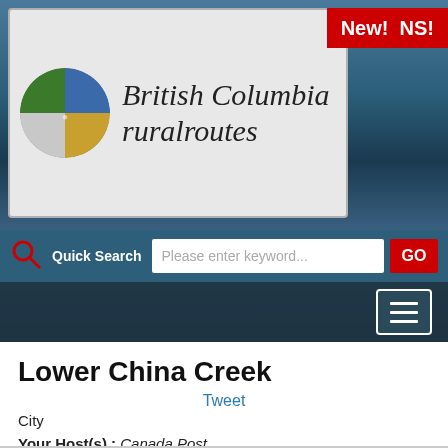[Figure (screenshot): British Columbia ruralroutes website header with logo circle and site title, search bar with Quick Search label and GO button, hamburger menu button, mountain landscape background, and New! NS! badge]
Lower China Creek
Tweet
City
Your Host(s) : Canada Post
Genelle, BC (Nearby: Lower China Creek, Upper China Creek, Blueberry Creek, Kinnaird, Ootischenia)